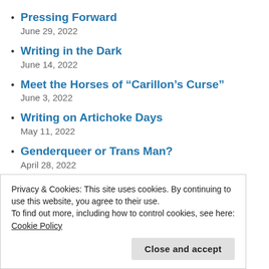Pressing Forward
June 29, 2022
Writing in the Dark
June 14, 2022
Meet the Horses of “Carillon’s Curse”
June 3, 2022
Writing on Artichoke Days
May 11, 2022
Genderqueer or Trans Man?
April 28, 2022
Privacy & Cookies: This site uses cookies. By continuing to use this website, you agree to their use.
To find out more, including how to control cookies, see here: Cookie Policy